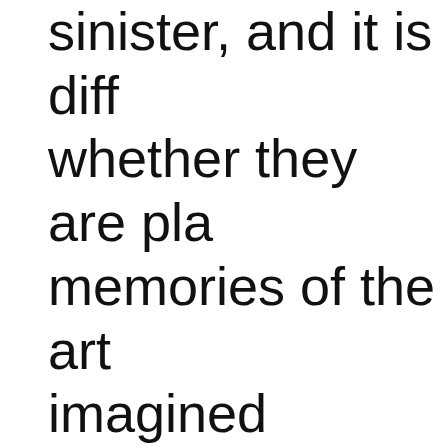sinister, and it is diff whether they are pla memories of the art imagined animistic v Embodiment is not c the shaping of the a also the composition whether as radiation diagonally distributo